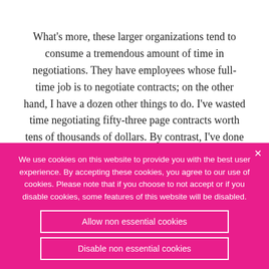What's more, these larger organizations tend to consume a tremendous amount of time in negotiations. They have employees whose full-time job is to negotiate contracts; on the other hand, I have a dozen other things to do. I've wasted time negotiating fifty-three page contracts worth tens of thousands of dollars. By contrast, I've done three page deals worth hundreds of
We use cookies on this website to provide you with the best user experience. By accepting these cookies, you agree to our use of cookies. Please note that if you choose to not accept or if you disable cookies, some features of this website will be disabled.
Allow non essential cookies
Disable non essential cookies